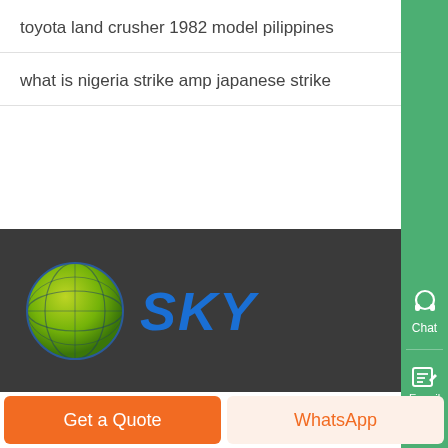toyota land crusher 1982 model pilippines
what is nigeria strike amp japanese strike
[Figure (logo): SKY company logo with green/yellow globe and blue SKY text on dark background]
Get a Quote
WhatsApp